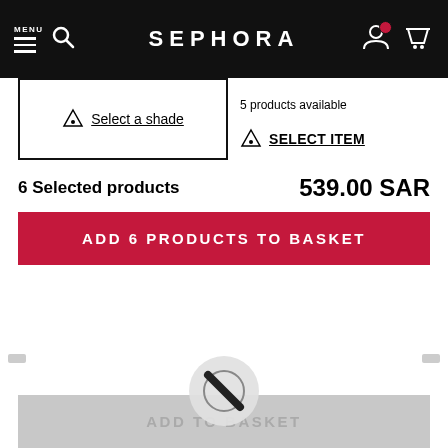MENU | SEPHORA
5 products available
Select a shade
SELECT ITEM
6 Selected products
539.00 SAR
ADD 6 PRODUCTS TO BASKET
ADD TO BASKET